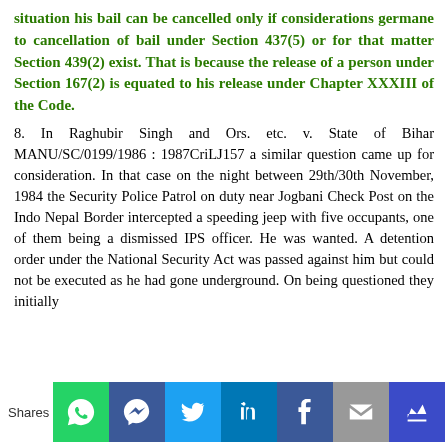situation his bail can be cancelled only if considerations germane to cancellation of bail under Section 437(5) or for that matter Section 439(2) exist. That is because the release of a person under Section 167(2) is equated to his release under Chapter XXXIII of the Code.
8. In Raghubir Singh and Ors. etc. v. State of Bihar MANU/SC/0199/1986 : 1987CriLJ157 a similar question came up for consideration. In that case on the night between 29th/30th November, 1984 the Security Police Patrol on duty near Jogbani Check Post on the Indo Nepal Border intercepted a speeding jeep with five occupants, one of them being a dismissed IPS officer. He was wanted. A detention order under the National Security Act was passed against him but could not be executed as he had gone underground. On being questioned they initially